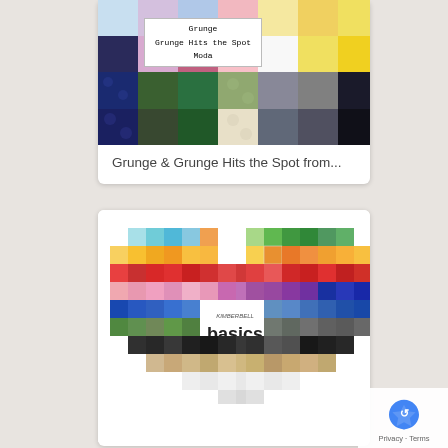[Figure (photo): A card showing a grid of fabric swatches in various colors with polka dot patterns, with a tooltip overlay reading 'Grunge / Grunge Hits the Spot / Moda']
Grunge & Grunge Hits the Spot from...
[Figure (photo): A card showing a heart-shaped collage of colorful fabric swatches with the Kimberbell Basics logo in the center]
[Figure (other): Privacy - Terms badge with reCAPTCHA icon in bottom right corner]